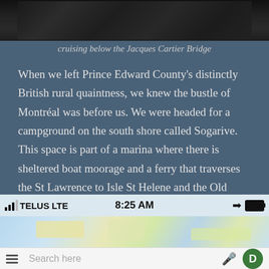[Figure (photo): Photo of people on a boat, cropped at top showing the bottom portion]
cruising below the Jacques Cartier Bridge
When we left Prince Edward County’s distinctly British rural quaintness, we knew the bustle of Montréal was before us. We were headed for a campground on the south shore called Sogarive. This space is part of a marina where there is sheltered boat moorage and a ferry that traverses the St Lawrence to Isle St Helene and the Old Montréal Port. We got an early start because the campground does not take reservations and we wanted a spot.
[Figure (screenshot): Screenshot of a Google Maps app on a mobile phone showing TELUS LTE carrier, 8:25 AM time, map view, and Search here bar with microphone icon and D user button]